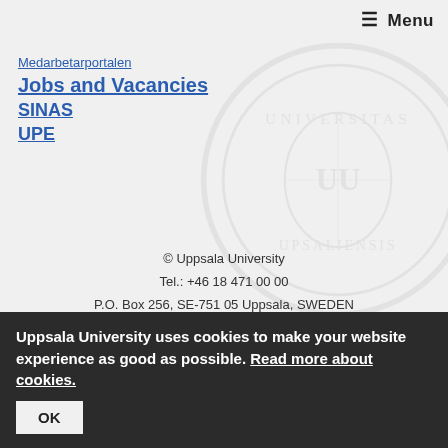≡ Menu
Medarbetarportalen
Jobs and Vacancies
SINAS
UPE
© Uppsala University
Tel.: +46 18 471 00 00
P.O. Box 256, SE-751 05 Uppsala, SWEDEN
Registration number: 202100-2932
VAT number: SE202100293201
PIC: 999985029
Registrar
Uppsala University uses cookies to make your website experience as good as possible. Read more about cookies.